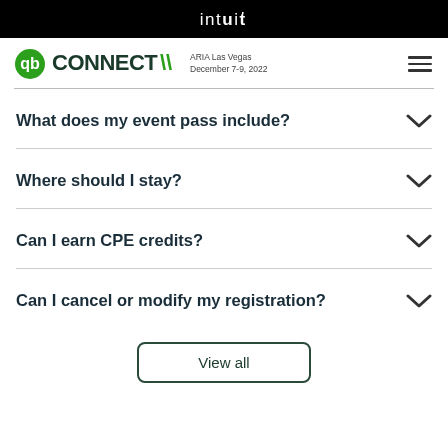intuit
[Figure (logo): QuickBooks Connect logo with QB icon, CONNECT text with chevrons, ARIA Las Vegas December 7-9, 2022]
What does my event pass include?
Where should I stay?
Can I earn CPE credits?
Can I cancel or modify my registration?
View all